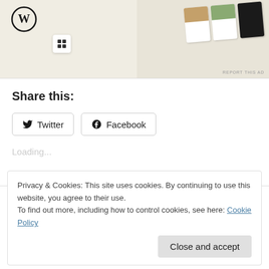[Figure (screenshot): WordPress and Squarespace advertisement banner showing logos and food menu cards]
Share this:
Twitter  Facebook
Loading...
Privacy & Cookies: This site uses cookies. By continuing to use this website, you agree to their use. To find out more, including how to control cookies, see here: Cookie Policy
Close and accept
July 8, 2022